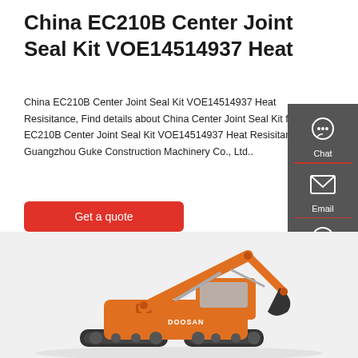China EC210B Center Joint Seal Kit VOE14514937 Heat
China EC210B Center Joint Seal Kit VOE14514937 Heat Resisitance, Find details about China Center Joint Seal Kit from EC210B Center Joint Seal Kit VOE14514937 Heat Resisitance - Guangzhou Guke Construction Machinery Co., Ltd..
Get a quote
[Figure (photo): Orange and black excavator (Doosan brand) photographed from the side, showing the arm, bucket, and cab against a light background.]